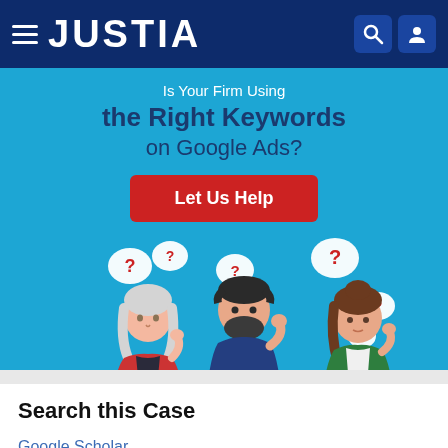JUSTIA
[Figure (infographic): Justia advertisement banner: 'Is Your Firm Using the Right Keywords on Google Ads?' with a red 'Let Us Help' button and illustration of three people with question mark thought bubbles.]
Search this Case
Google Scholar
Google Books
Legal Blogs